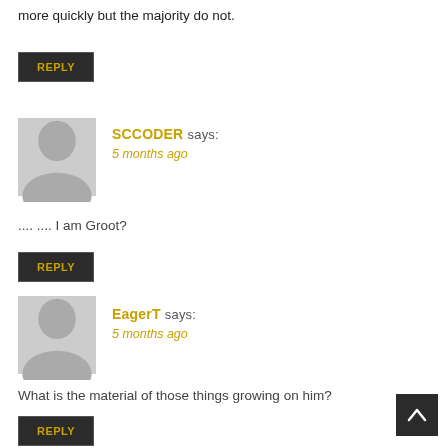more quickly but the majority do not.
REPLY
SCCODER says:
5 months ago
.... .... I am Groot?
REPLY
EagerT says:
5 months ago
What is the material of those things growing on him?
REPLY